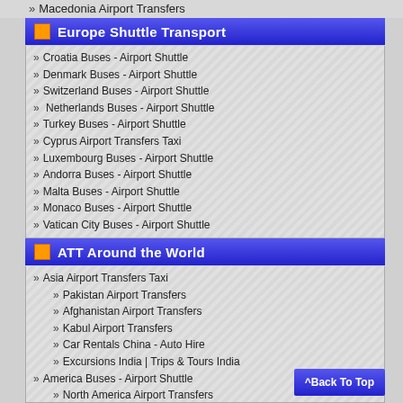» Macedonia Airport Transfers
Europe Shuttle Transport
» Croatia Buses - Airport Shuttle
» Denmark Buses - Airport Shuttle
» Switzerland Buses - Airport Shuttle
»  Netherlands Buses - Airport Shuttle
» Turkey Buses - Airport Shuttle
» Cyprus Airport Transfers Taxi
» Luxembourg Buses - Airport Shuttle
» Andorra Buses - Airport Shuttle
» Malta Buses - Airport Shuttle
» Monaco Buses - Airport Shuttle
» Vatican City Buses - Airport Shuttle
» Yugoslavia Buses - Airport Shuttle
ATT Around the World
» Asia Airport Transfers Taxi
» Pakistan Airport Transfers
» Afghanistan Airport Transfers
» Kabul Airport Transfers
» Car Rentals China - Auto Hire
» Excursions India | Trips & Tours India
» America Buses - Airport Shuttle
» North America Airport Transfers
» South America Airport Transfers
^Back To Top